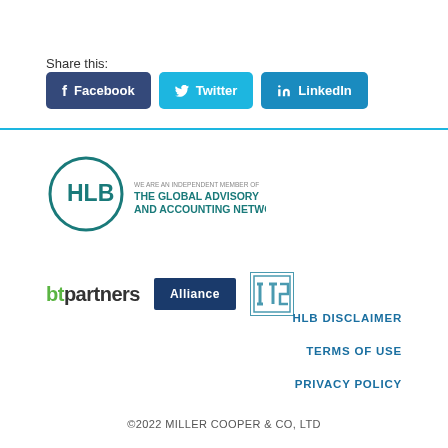Share this:
[Figure (infographic): Social share buttons: Facebook (dark blue), Twitter (light blue), LinkedIn (medium blue)]
[Figure (logo): HLB logo — circular mark with text: WE ARE AN INDEPENDENT MEMBER OF THE GLOBAL ADVISORY AND ACCOUNTING NETWORK]
[Figure (logo): btpartners logo (bt in green, partners in dark), Alliance navy box logo, ITS logo]
HLB DISCLAIMER
TERMS OF USE
PRIVACY POLICY
©2022 MILLER COOPER & CO, LTD